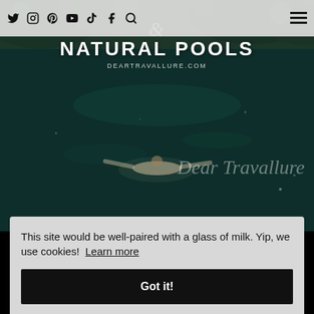Navigation bar with social media icons: Twitter, Instagram, Pinterest, YouTube, TikTok, Facebook, Search, and hamburger menu
[Figure (photo): Aerial view of a person swimming in a dark teal natural pool surrounded by rocky green vegetation. Text overlay shows '& NATURAL POOLS' and 'DEARTRAVALLURE.COM' with decorative script watermark.]
NATURAL POOLS
DEARTRAVALLURE.COM
This site would be well-paired with a glass of milk. Yip, we use cookies!  Learn more
Got it!